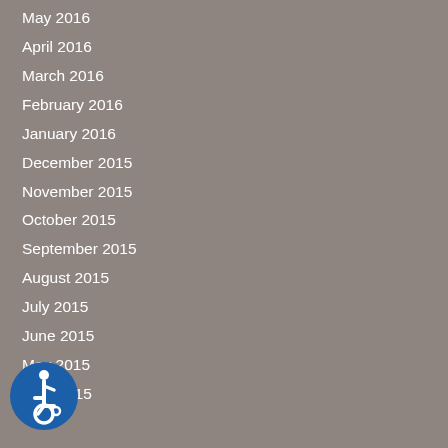May 2016
April 2016
March 2016
February 2016
January 2016
December 2015
November 2015
October 2015
September 2015
August 2015
July 2015
June 2015
May 2015
April 2015
[Figure (other): Accessibility icon — blue circle with white wheelchair user symbol]